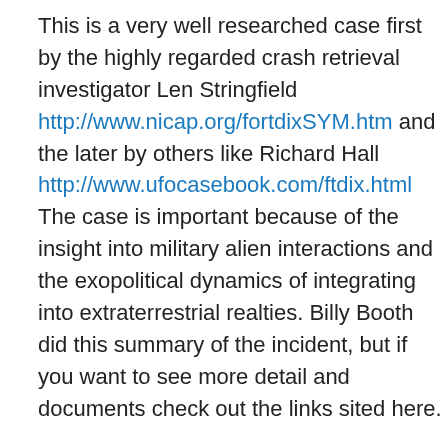This is a very well researched case first by the highly regarded crash retrieval investigator Len Stringfield http://www.nicap.org/fortdixSYM.htm and the later by others like Richard Hall http://www.ufocasebook.com/ftdix.html The case is important because of the insight into military alien interactions and the exopolitical dynamics of integrating into extraterrestrial realties. Billy Booth did this summary of the incident, but if you want to see more detail and documents check out the links sited here.
“In the wee hours of January 18, 1978, several reports of UFOs were made by personnel of Ft. Dix and McGuire AFB in New Jersey. Soon, Air Force security was called to McGuire’s back gate to allow the New Jersey State Police entry. One airman on duty that night we shall call Sgt. Jones. He was told that Dix Military Police were chasing a